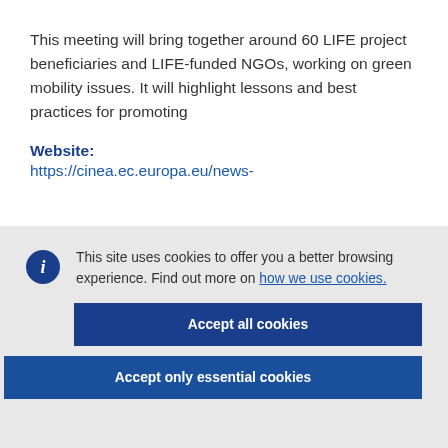This meeting will bring together around 60 LIFE project beneficiaries and LIFE-funded NGOs, working on green mobility issues. It will highlight lessons and best practices for promoting
Website:
https://cinea.ec.europa.eu/news-
This site uses cookies to offer you a better browsing experience. Find out more on how we use cookies.
Accept all cookies
Accept only essential cookies